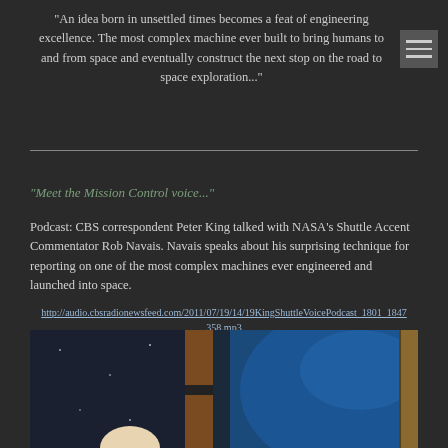"An idea born in unsettled times becomes a feat of engineering excellence. The most complex machine ever built to bring humans to and from space and eventually construct the next stop on the road to space exploration..."
"Meet the Mission Control voice..."
Podcast: CBS correspondent Peter King talked with NASA's Shuttle Accent Commentator Rob Navais. Navais speaks about his surprising technique for reporting on one of the most complex machines ever engineered and launched into space.
http://audio.cbsradionewsfeed.com/2011/07/19/14/19KingShuttleVoicePodcast_1801_1847358.mp3
[Figure (photo): Photo showing a person in front of a space-themed background with blue Earth imagery and brown structural elements, likely inside a space center or related facility.]